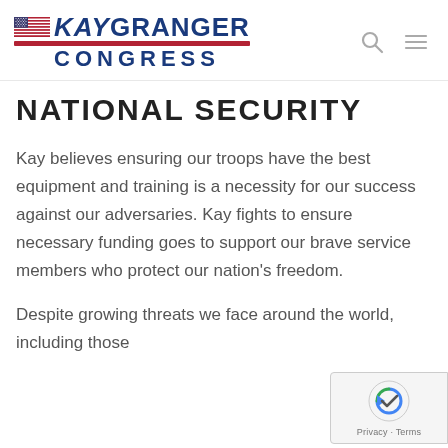[Figure (logo): Kay Granger Congress logo with American flag graphic and navigation icons]
NATIONAL SECURITY
Kay believes ensuring our troops have the best equipment and training is a necessity for our success against our adversaries. Kay fights to ensure necessary funding goes to support our brave service members who protect our nation's freedom.
Despite growing threats we face around the world, including those